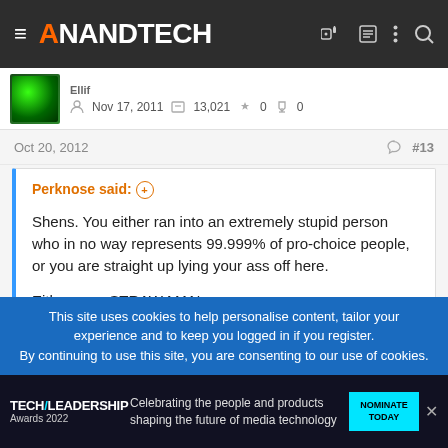AnandTech
Nov 17, 2011  13,021  0  0
Oct 20, 2012  #13
Perknose said: ⊕

Shens. You either ran into an extremely stupid person who in no way represents 99.999% of pro-choice people, or you are straight up lying your ass off here.

Either way, STRAW MAN.
This site uses cookies to help personalise content, tailor your experience and to keep you logged in if you register.
By continuing to use this site, you are consenting to our use of cookies.
[Figure (screenshot): Tech Leadership Awards 2022 advertisement banner: Celebrating the people and products shaping the future of media technology. NOMINATE TODAY.]